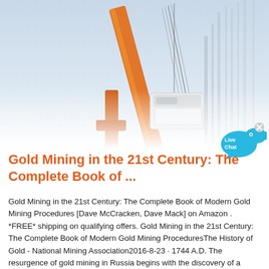[Figure (photo): Industrial crane or mining equipment photographed from below against a pale blue sky, with orange structural elements and a white machine component being lifted.]
[Figure (illustration): Live Chat speech bubble widget with a cyan fish icon and an X close button in the top right corner.]
Gold Mining in the 21st Century: The Complete Book of ...
Gold Mining in the 21st Century: The Complete Book of Modern Gold Mining Procedures [Dave McCracken, Dave Mack] on Amazon . *FREE* shipping on qualifying offers. Gold Mining in the 21st Century: The Complete Book of Modern Gold Mining ProceduresThe History of Gold - National Mining Association2016-8-23 · 1744 A.D. The resurgence of gold mining in Russia begins with the discovery of a quartz outcrop in Ekaterinburg. 1787 A.D. First U.S. gold coin is struck by Ephraim Brasher, a goldsmith. 1792 A.D. The Coinage Act places the United States on a bimetallic silver-gold standard, and